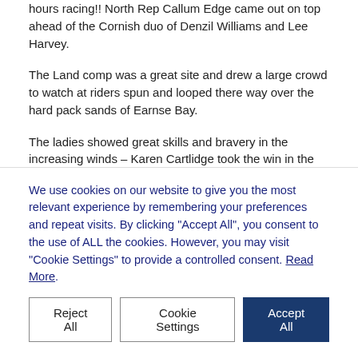hours racing!! North Rep Callum Edge came out on top ahead of the Cornish duo of Denzil Williams and Lee Harvey.
The Land comp was a great site and drew a large crowd to watch at riders spun and looped there way over the hard pack sands of Earnse Bay.
The ladies showed great skills and bravery in the increasing winds – Karen Cartlidge took the win in the Buggy section while Pro Kitesurfer lady Sukie Robertson took the honours in the Landboarding
The Men's buggy saw some huge moves go down and it was an
We use cookies on our website to give you the most relevant experience by remembering your preferences and repeat visits. By clicking "Accept All", you consent to the use of ALL the cookies. However, you may visit "Cookie Settings" to provide a controlled consent. Read More.